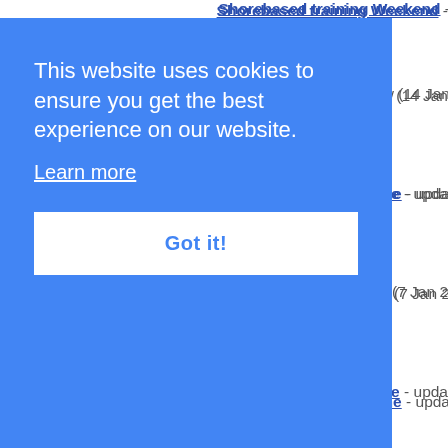Shorebased training Weekend -
new (14 Jan
amme - upda
new (7 Jan 2
amme - upda
Latest newsletter - new (20 Dec
2022 voyage programme - upda
Latest newsletter - new (10 Dec
2022 voyage programme - upda
Latest newsletter - new (3 Dec
Staff cadet - job advertisement -
This website uses cookies to ensure you get the best experience on our website. Learn more Got it!